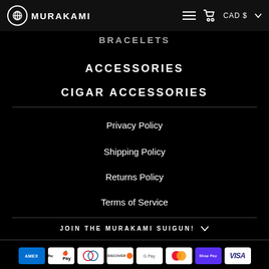MURAKAMI — CAD $
BRACELETS
ACCESSORIES
CIGAR ACCESSORIES
Privacy Policy
Shipping Policy
Returns Policy
Terms of Service
JOIN THE MURAKAMI SUIGUN!
[Figure (logo): Payment method icons: American Express, Apple Pay, Diners Club, Discover, Google Pay, Mastercard, Shop Pay, Visa]